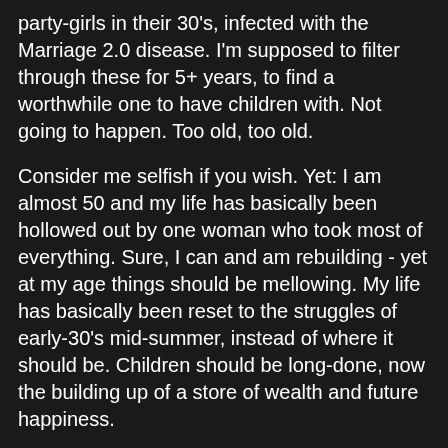party-girls in their 30's, infected with the Marriage 2.0 disease. I'm supposed to filter through these for 5+ years, to find a worthwhile one to have children with. Not going to happen. Too old, too old.

Consider me selfish if you wish. Yet: I am almost 50 and my life has basically been hollowed out by one woman who took most of everything. Sure, I can and am rebuilding - yet at my age things should be mellowing. My life has basically been reset to the struggles of early-30's mid-summer, instead of where it should be. Children should be long-done, now the building up of a store of wealth and future happiness.

Start a family now? That would be another 20+ years of difficulty in my declining years, very likely ending with nothing once they're gone and out the door. They would be forced to support me. That would be cruelty in the extreme. As it is, I expect now to work until I die - unless I decide to retire to somewhere cheaper, as my income the